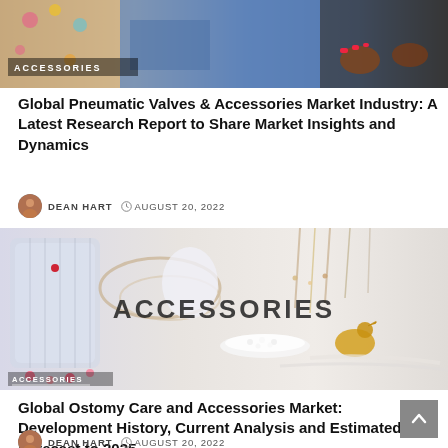[Figure (photo): Banner image showing fashion accessories - colorful outfit, jeans, and sandals with 'ACCESSORIES' label overlay in bottom left]
Global Pneumatic Valves & Accessories Market Industry: A Latest Research Report to Share Market Insights and Dynamics
DEAN HART  © AUGUST 20, 2022
[Figure (photo): Photo of jewelry accessories including necklaces, bracelets, glass vase, pearl necklace and a gold bird figurine with 'ACCESSORIES' text overlay and 'ACCESSORIES' label at bottom left]
Global Ostomy Care and Accessories Market: Development History, Current Analysis and Estimated Forecast to 2025
DEAN HART  © AUGUST 20, 2022